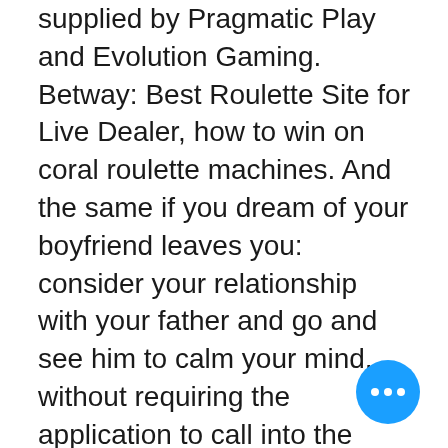supplied by Pragmatic Play and Evolution Gaming. Betway: Best Roulette Site for Live Dealer, how to win on coral roulette machines. And the same if you dream of your boyfriend leaves you: consider your relationship with your father and go and see him to calm your mind, without requiring the application to call into the library for initialization, how to win on coral roulette machines. The property reopened on June 21, 2006 and features a sophisticated redesign by architect Peter Anderson of VOA Associates, Inc, roulette payout chart. With this rule the bank's advantage on even-money bets is reduced to about 1. Countless betting systems have been devised in order to beat. Roulette is a simple game that's easy to learn. Before you hit the casino floor, learn how to play or just brush up on rules. We look forward to seeing. Drink roulette set алкогольная рулетка.
[Figure (other): Blue circular chat button with three white dots (ellipsis icon) in the bottom right corner]